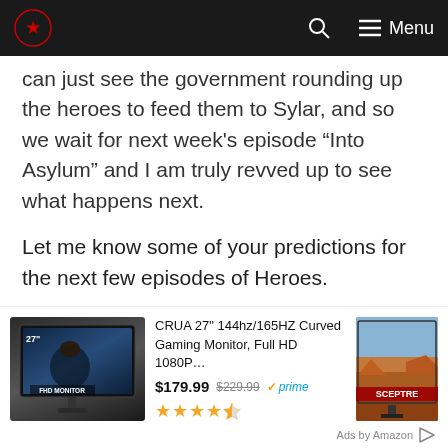Dragon Blogger – Menu
can just see the government rounding up the heroes to feed them to Sylar, and so we wait for next week's episode “Into Asylum” and I am truly revved up to see what happens next.
Let me know some of your predictions for the next few episodes of Heroes.
-Dragon Blogger
[Figure (infographic): Amazon ad: CRUA 27 inch 144hz/165HZ Curved Gaming Monitor, Full HD 1080P at $179.99 (was $229.99), Prime eligible, 4.5 stars. Shows monitor product image and a second monitor (Sceptre brand).]